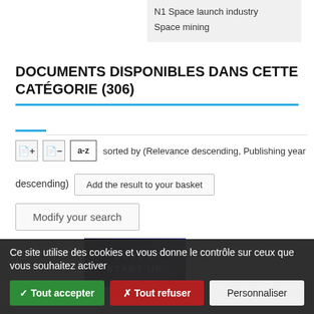N1 Space launch industry
Space mining
DOCUMENTS DISPONIBLES DANS CETTE CATÉGORIE (306)
sorted by (Relevance descending, Publishing year descending)   Add the result to your basket
Modify your search
[Figure (photo): Book cover: BRYCE START UP with space background]
Ce site utilise des cookies et vous donne le contrôle sur ceux que vous souhaitez activer
✓ Tout accepter   ✗ Tout refuser   Personnaliser